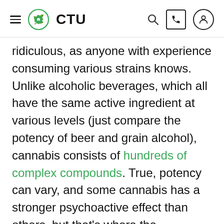CTU
ridiculous, as anyone with experience consuming various strains knows. Unlike alcoholic beverages, which all have the same active ingredient at various levels (just compare the potency of beer and grain alcohol), cannabis consists of hundreds of complex compounds. True, potency can vary, and some cannabis has a stronger psychoactive effect than others, but that's where the